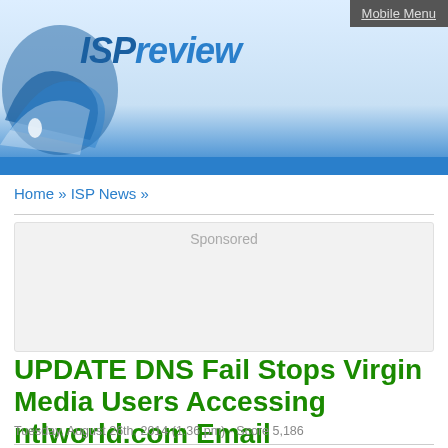ISPreview
Mobile Menu
Home » ISP News »
Sponsored
UPDATE DNS Fail Stops Virgin Media Users Accessing ntlworld.com Email
Tuesday, August 26th, 2014 (1:36 pm) - Score 5,186